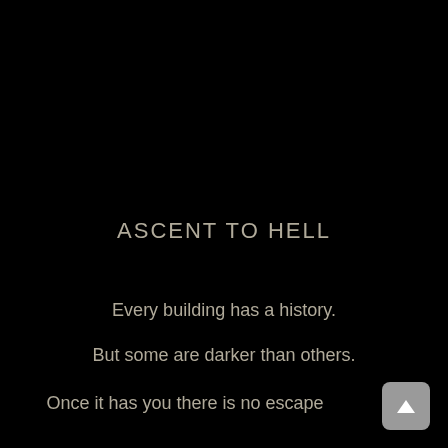ASCENT TO HELL
Every building has a history.
But some are darker than others.
Once it has you there is no escape
[Figure (other): A small rounded square button with an upward-pointing triangle/arrow icon in white on a grey background, positioned in the bottom-right corner.]